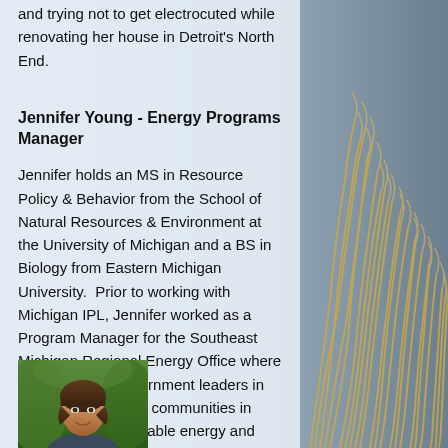and trying not to get electrocuted while renovating her house in Detroit's North End.
Jennifer Young - Energy Programs Manager
Jennifer holds an MS in Resource Policy & Behavior from the School of Natural Resources & Environment at the University of Michigan and a BS in Biology from Eastern Michigan University.  Prior to working with Michigan IPL, Jennifer worked as a Program Manager for the Southeast Michigan Regional Energy Office where she convened government leaders in southeast Michigan communities in collaborative renewable energy and energy efficiency initiatives.  Jennifer is
[Figure (photo): Headshot photo of Jennifer Young]